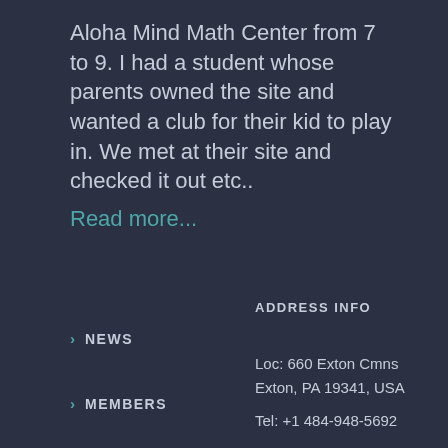Aloha Mind Math Center from 7 to 9. I had a student whose parents owned the site and wanted a club for their kid to play in. We met at their site and checked it out etc..
Read more...
> NEWS
> MEMBERS
ADDRESS INFO
Loc: 660 Exton Cmns
Exton, PA 19341, USA
Tel: +1 484-948-5692